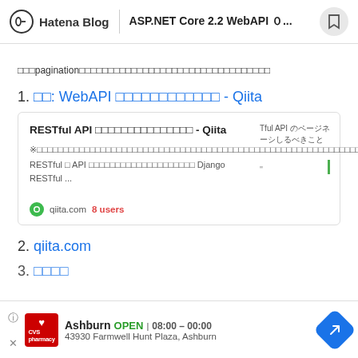Hatena Blog | ASP.NET Core 2.2 WebAPI ０...
（日本語テキスト）paginationを実装する際に参考にしたサイトのまとめです。
1. 参考: WebAPI のページネーションについて - Qiita
[Figure (screenshot): Bookmark card for RESTful API ページネーションの実装方法まとめ - Qiita. Excerpt: ※このエントリは... RESTful な API ... Django RESTful ... Thumbnail text: Tful API のページジネーションすべるべきこと. Site: qiita.com 8 users]
2. qiita.com
[Figure (screenshot): Ad bar: CVS Pharmacy - Ashburn OPEN 08:00-00:00, 43930 Farmwell Hunt Plaza, Ashburn]